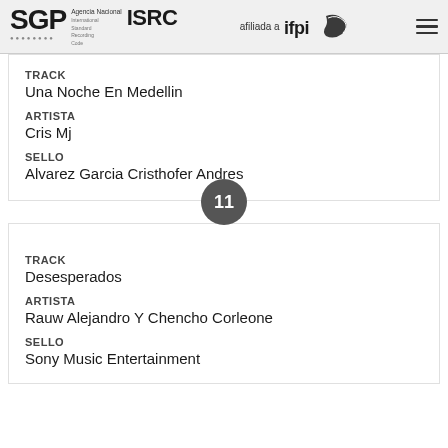SGP Agencia Nacional ISRC afiliada a ifpi
TRACK
Una Noche En Medellin
ARTISTA
Cris Mj
SELLO
Alvarez Garcia Cristhofer Andres
11
TRACK
Desesperados
ARTISTA
Rauw Alejandro Y Chencho Corleone
SELLO
Sony Music Entertainment